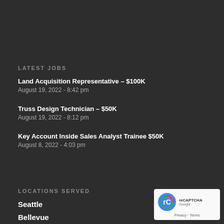LATEST JOBS
Land Acquisition Representative – $100K
August 19, 2022 - 8:42 pm
Truss Design Technician – $50K
August 19, 2022 - 8:12 pm
Key Account Inside Sales Analyst Trainee $50K
August 8, 2022 - 4:03 pm
LOCATIONS SERVED
Seattle
Bellevue
[Figure (logo): reCAPTCHA badge with Google logo and Privacy - Terms text]